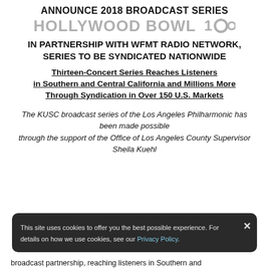ANNOUNCE 2018 BROADCAST SERIES HOLLYWOOD BOWL 100
IN PARTNERSHIP WITH WFMT RADIO NETWORK, SERIES TO BE SYNDICATED NATIONWIDE
Thirteen-Concert Series Reaches Listeners in Southern and Central California and Millions More Through Syndication in Over 150 U.S. Markets
The KUSC broadcast series of the Los Angeles Philharmonic has been made possible through the support of the Office of Los Angeles County Supervisor Sheila Kuehl
broadcast partnership, reaching listeners in Southern and
This site uses cookies to offer you the best possible experience. For details on how we use cookies, see our Privacy Policy.